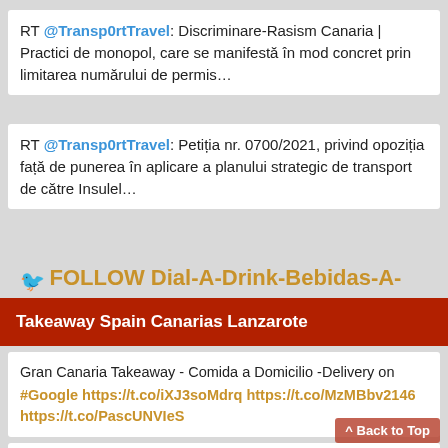RT @Transp0rtTravel: Discriminare-Rasism Canaria | Practici de monopol, care se manifestă în mod concret prin limitarea numărului de permis…
RT @Transp0rtTravel: Petiția nr. 0700/2021, privind opoziția față de punerea în aplicare a planului strategic de transport de către Insulel…
🐦 FOLLOW Dial-A-Drink-Bebidas-A-Domicilio ON_TWITTER
Takeaway Spain Canarias Lanzarote
Gran Canaria Takeaway - Comida a Domicilio -Delivery on #Google https://t.co/iXJ3soMdrq https://t.co/MzMBbv2146 https://t.co/PascUNVIeS
Comida a Domicilio Playa Blanca - Restaurantes en Lanzarote Canarias - Playa Blanca Takeaway - Pizzeria Restaurant... https://t.co/...